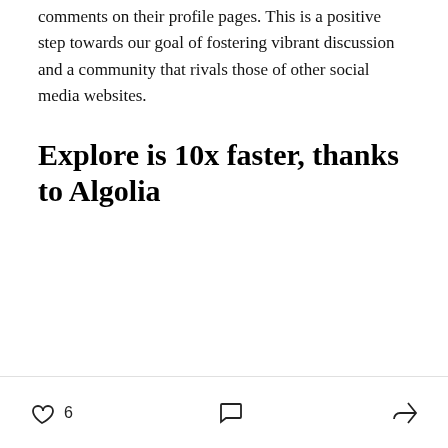comments on their profile pages. This is a positive step towards our goal of fostering vibrant discussion and a community that rivals those of other social media websites.
Explore is 10x faster, thanks to Algolia
6 [like icon] [comment icon] [share icon]